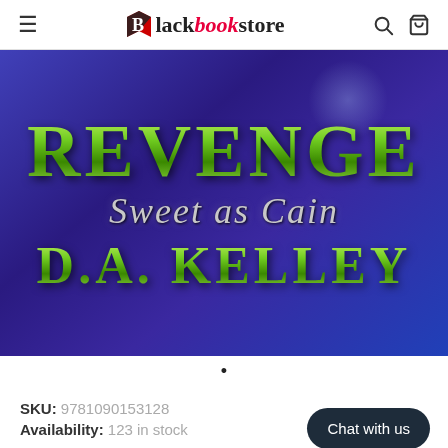Blackbookstore
[Figure (illustration): Book cover for 'Revenge Sweet as Cain' by D.A. Kelley with purple/blue gradient background, green metallic title text 'REVENGE', italic silver text 'Sweet as Cain', and green metallic author name 'D.A. KELLEY']
•
SKU: 9781090153128
Availability: 123 in stock
Chat with us